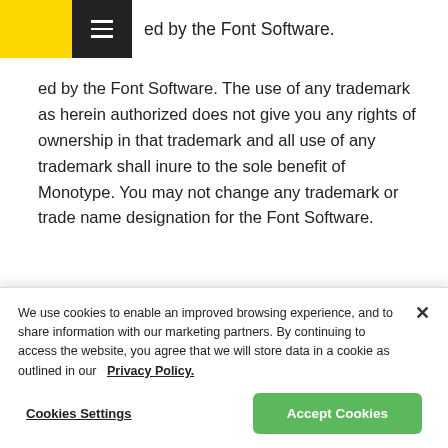ed by the Font Software.
ed by the Font Software. The use of any trademark as herein authorized does not give you any rights of ownership in that trademark and all use of any trademark shall inure to the sole benefit of Monotype. You may not change any trademark or trade name designation for the Font Software.
10. Limited Warranty. Monotype warrants to you that the Font Software will perform substantially in
We use cookies to enable an improved browsing experience, and to share information with our marketing partners. By continuing to access the website, you agree that we will store data in a cookie as outlined in our   Privacy Policy.
Cookies Settings
Accept Cookies